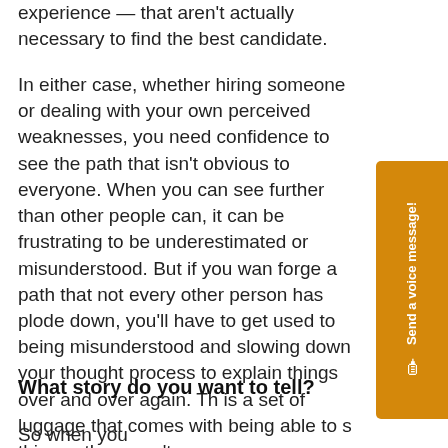experience — that aren't actually necessary to find the best candidate.
In either case, whether hiring someone or dealing with your own perceived weaknesses, you need confidence to see the path that isn't obvious to everyone. When you can see further than other people can, it can be frustrating to be underestimated or misunderstood. But if you want to forge a path that not every other person has plodded down, you'll have to get used to being misunderstood and slowing down your thought process to explain things over and over again. That is a set of luggage that comes with being able to see things others can't.
What story do you want to tell?
So when you...